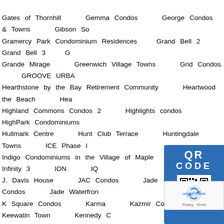Gates of Thornhill    Gemma Condos    George Condos & Towns    Gibson Sd    Gramercy Park Condominium Residences    Grand Bell 2    Grand Bell 3    G    Grande Mirage    Greenwich Village Towns    Grid Condos    GROOVE URBA    Hearthstone by the Bay Retirement Community    Heartwood the Beach    Hea    Highland Commons Condos 2    Highlights condos    HighPark Condominiums    Hullmark Centre    Hunt Club Terrace    Huntingdale Towns    ICE Phase I    Indigo Condominiums in the Village of Maple    INDX    Infinity 3    ION    IQ    J. Davis House    JAC Condos    Jade    Jade Loft Condos    Jade Waterfron    K Square Condos    Karma    Kazmir Condos    Keewatin Town    Kennedy C    King Charlotte    King Condos    King East Estates    King Plus Condos    Ki    Kingsmill    KiWi Condos    Kort View Condos    KSquare Condos    Lago    Lakeview Village Condos    Lakevu Condos phase 1&2    Laurent C    Leslieville Town Manors    Liberty Central    Liberty House    Libert    Linea Condos    Link 2 Condos + Lofts    Linx Condos    LivLofts    Louie Condos    Love    Lumina Condo    Lynn Residences    M c    Marbella Condominium    Margo Condos    Mariner's Pier    Marke    Mayfair Residences    McGibbon on Main Condos    McGibbon on M    MILA Towns    Milan    Milliken Centre    Mills Square    Mint Condos    Mi    Miracle in Mississauga    Mississauga Square Condos    Mobilio Condos    Mu    MUSE Condos    MuseumHouse On Bloor    Muskoka Bay Resort    MV1 CO    Nautilus at Waterview    Nautique Lakefront Residences    Neon Condos    N    Nicholas Residences    NO.31 Condominiums    Nobu Residence    Northshore Condominium Residences    Notting Hill Condos    No    Oak & Co. Condos    Oakridge Meadows    Oakville Phase 2 T    One Crosstown Condos    One Delisle    One Eleven Forsythe    One Forest